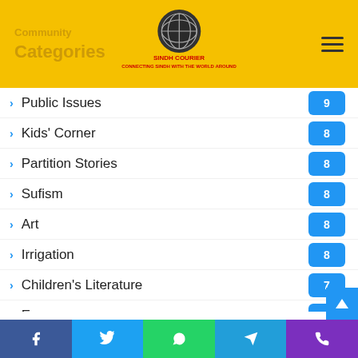Categories
Public Issues
Kids' Corner
Partition Stories
Sufism
Art
Irrigation
Children's Literature
Energy
Tourism
Travelogue
Point of View
Facebook | Twitter | WhatsApp | Telegram | Phone